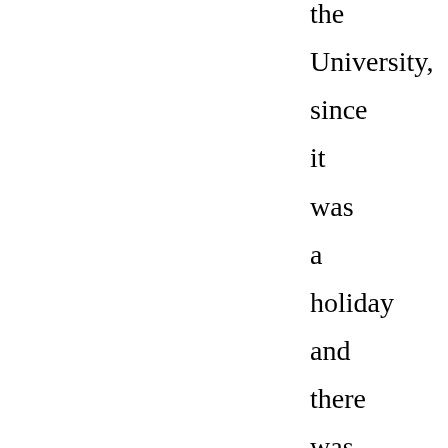the University, since it was a holiday and there was nobody around. He set the box on a bench on top of